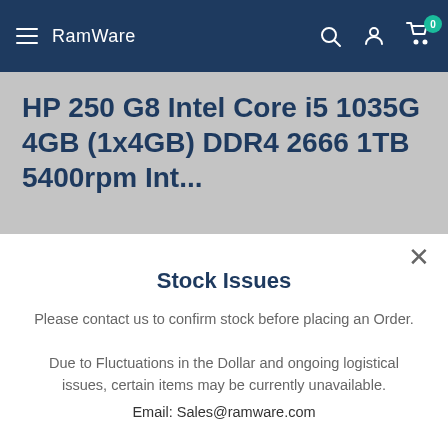RamWare
HP 250 G8 Intel Core i5 1035G 4GB (1x4GB) DDR4 2666 1TB 5400rpm Int...
Stock Issues
Please contact us to confirm stock before placing an Order.
Due to Fluctuations in the Dollar and ongoing logistical issues, certain items may be currently unavailable.
Email: Sales@ramware.com
Phone: 0860 726 726